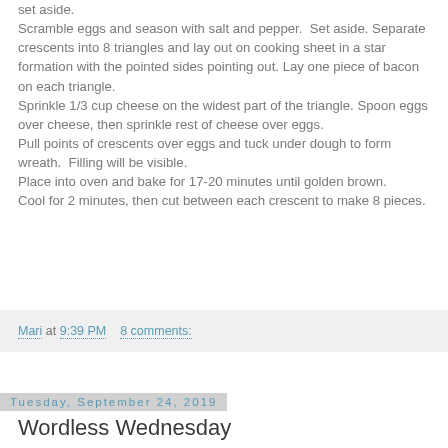set aside. Scramble eggs and season with salt and pepper.  Set aside. Separate crescents into 8 triangles and lay out on cooking sheet in a star formation with the pointed sides pointing out. Lay one piece of bacon on each triangle. Sprinkle 1/3 cup cheese on the widest part of the triangle. Spoon eggs over cheese, then sprinkle rest of cheese over eggs. Pull points of crescents over eggs and tuck under dough to form wreath.  Filling will be visible. Place into oven and bake for 17-20 minutes until golden brown. Cool for 2 minutes, then cut between each crescent to make 8 pieces.
Mari at 9:39 PM    8 comments:
Tuesday, September 24, 2019
Wordless Wednesday